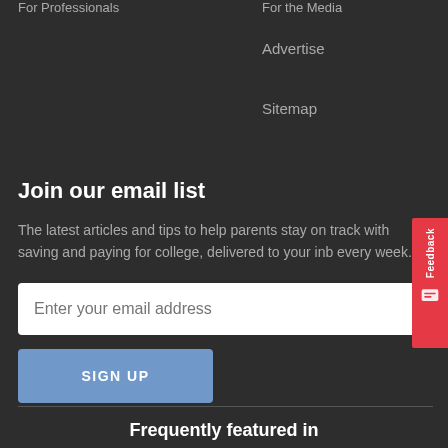For Professionals
For the Media
Advertise
Sitemap
Join our email list
The latest articles and tips to help parents stay on track with saving and paying for college, delivered to your inbox every week.
Enter your email address
SIGN UP
Frequently featured in